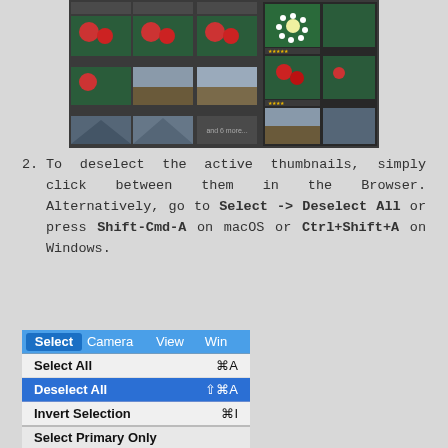[Figure (screenshot): Screenshot of a photo browser application showing flower and landscape thumbnails in a grid layout with a panel on the right side.]
2. To deselect the active thumbnails, simply click between them in the Browser. Alternatively, go to Select -> Deselect All or press Shift-Cmd-A on macOS or Ctrl+Shift+A on Windows.
[Figure (screenshot): Screenshot of a dropdown menu showing: Select (highlighted in menu bar), Camera, View, Win. Menu items: Select All (Cmd+A), Deselect All (Shift+Cmd+A, highlighted in blue), Invert Selection (Cmd+I), Select Primary Only.]